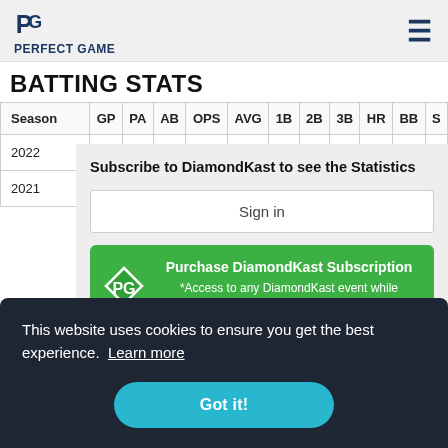PERFECT GAME
BATTING STATS
| Season | GP | PA | AB | OPS | AVG | 1B | 2B | 3B | HR | BB | S |
| --- | --- | --- | --- | --- | --- | --- | --- | --- | --- | --- | --- |
| 2022 |
| 2021 |
Subscribe to DiamondKast to see the Statistics
Sign in
Purchase DiamondKast Subscription *Access to any DiamondKast event while subscription is active
This website uses cookies to ensure you get the best experience. Learn more
Got it!